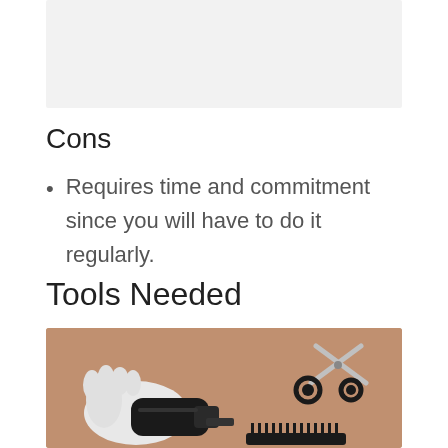[Figure (photo): Top portion of a previous page image, partially visible at top of page — light gray placeholder area]
Cons
Requires time and commitment since you will have to do it regularly.
Tools Needed
[Figure (photo): Photo of hair grooming tools on a brown/tan background: a white gloved hand holding black hair clippers, black scissors, and a black comb laid out flat]